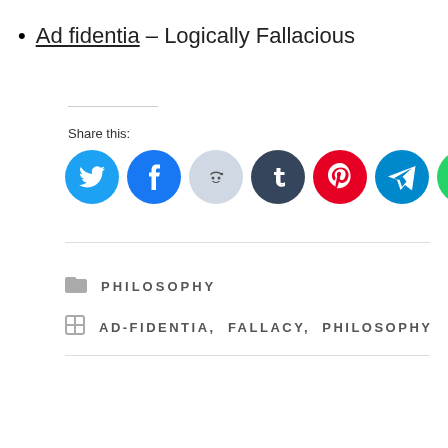Ad fidentia – Logically Fallacious
Share this:
[Figure (infographic): Row of social share icon buttons: Twitter (blue), Facebook (blue), Reddit (light blue-gray), Tumblr (dark navy), Pinterest (red), Telegram (teal), WhatsApp (green), Print (gray)]
PHILOSOPHY
AD-FIDENTIA,  FALLACY,  PHILOSOPHY